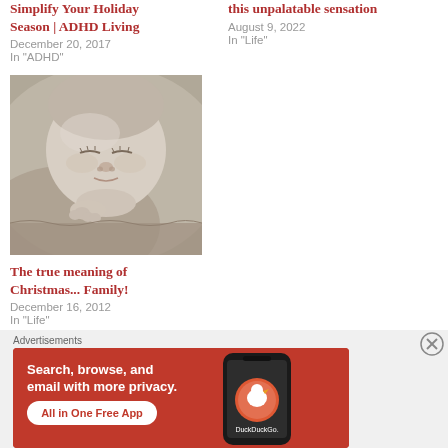Simplify Your Holiday Season | ADHD Living
December 20, 2017
In "ADHD"
this unpalatable sensation
August 9, 2022
In "Life"
[Figure (photo): Black and white close-up photo of a sleeping newborn baby]
The true meaning of Christmas... Family!
December 16, 2012
In "Life"
Advertisements
[Figure (screenshot): DuckDuckGo advertisement banner: Search, browse, and email with more privacy. All in One Free App. Orange background with phone image showing DuckDuckGo app.]